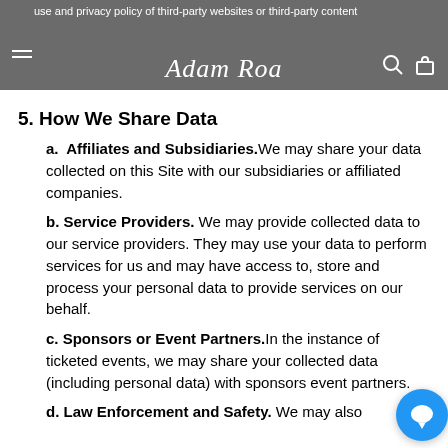use and privacy policy of third-party websites or third-party content [logo: Adam Roa] [search icon] [bag icon]
5. How We Share Data
a. Affiliates and Subsidiaries. We may share your data collected on this Site with our subsidiaries or affiliated companies.
b. Service Providers. We may provide collected data to our service providers. They may use your data to perform services for us and may have access to, store and process your personal data to provide services on our behalf.
c. Sponsors or Event Partners. In the instance of ticketed events, we may share your collected data (including personal data) with sponsors event partners.
d. Law Enforcement and Safety. We may also